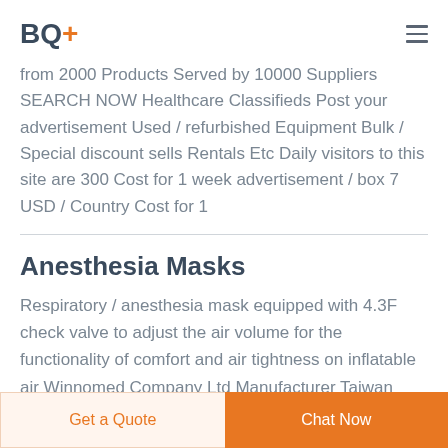BQ+
from 2000 Products Served by 10000 Suppliers SEARCH NOW Healthcare Classifieds Post your advertisement Used / refurbished Equipment Bulk / Special discount sells Rentals Etc Daily visitors to this site are 300 Cost for 1 week advertisement / box 7 USD / Country Cost for 1
Anesthesia Masks
Respiratory / anesthesia mask equipped with 4.3F check valve to adjust the air volume for the functionality of comfort and air tightness on inflatable air Winnomed Company Ltd Manufacturer Taiwan Aerosol mask 3 Similar
Get a Quote   Chat Now